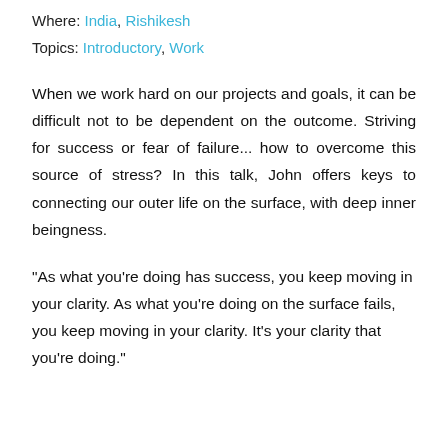Where: India, Rishikesh
Topics: Introductory, Work
When we work hard on our projects and goals, it can be difficult not to be dependent on the outcome. Striving for success or fear of failure... how to overcome this source of stress? In this talk, John offers keys to connecting our outer life on the surface, with deep inner beingness.
“As what you’re doing has success, you keep moving in your clarity. As what you’re doing on the surface fails, you keep moving in your clarity. It’s your clarity that you’re doing.”